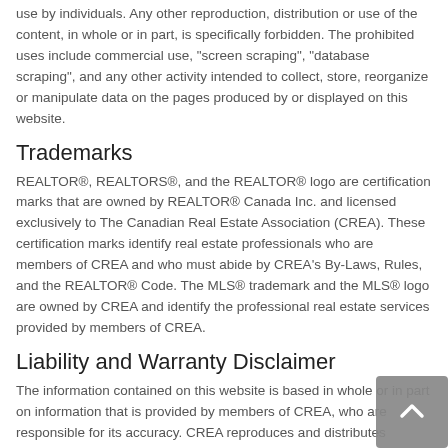use by individuals. Any other reproduction, distribution or use of the content, in whole or in part, is specifically forbidden. The prohibited uses include commercial use, "screen scraping", "database scraping", and any other activity intended to collect, store, reorganize or manipulate data on the pages produced by or displayed on this website.
Trademarks
REALTOR®, REALTORS®, and the REALTOR® logo are certification marks that are owned by REALTOR® Canada Inc. and licensed exclusively to The Canadian Real Estate Association (CREA). These certification marks identify real estate professionals who are members of CREA and who must abide by CREA's By-Laws, Rules, and the REALTOR® Code. The MLS® trademark and the MLS® logo are owned by CREA and identify the professional real estate services provided by members of CREA.
Liability and Warranty Disclaimer
The information contained on this website is based in whole or in part on information that is provided by members of CREA, who are responsible for its accuracy. CREA reproduces and distributes information as a service for its members, and assumes no responsibility for its completeness or accuracy.